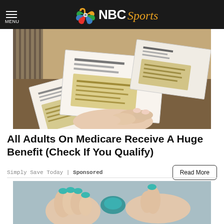NBC Sports
[Figure (photo): A hand holding multiple envelopes or mail pieces with printed text, fanned out on a surface]
All Adults On Medicare Receive A Huge Benefit (Check If You Qualify)
Simply Save Today | Sponsored
[Figure (illustration): Illustrated hands pressing or touching something, shown in teal/blue tones on a grey background — partial view at bottom of page]